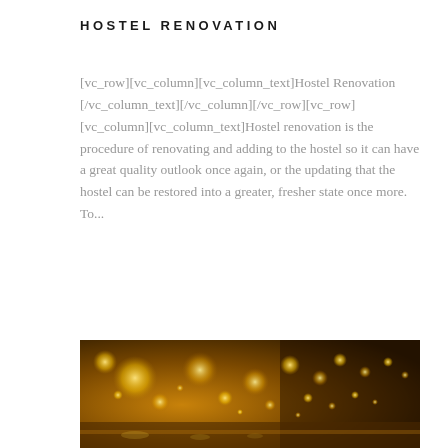HOSTEL RENOVATION
[vc_row][vc_column][vc_column_text]Hostel Renovation [/vc_column_text][/vc_column][/vc_row][vc_row][vc_column][vc_column_text]Hostel renovation is the procedure of renovating and adding to the hostel so it can have a great quality outlook once again, or the updating that the hostel can be restored into a greater, fresher state once more.   To...
[Figure (photo): Warm golden interior of a hostel corridor or bar area with bokeh string lights and reflective surfaces, viewed from a low angle perspective.]